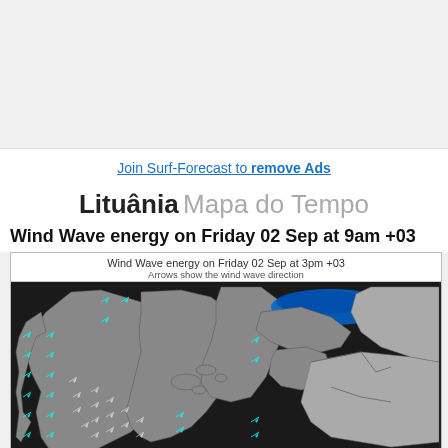Join Surf-Forecast to remove Ads
Lituânia Mapa do Tempo
Wind Wave energy on Friday 02 Sep at 9am +03
[Figure (map): Wind Wave energy map showing Northern Europe/Baltic Sea region on Friday 02 Sep at 3pm +03. Dark ocean areas with cyan wave direction arrows, blue highlight near Finland/Gulf of Finland. Gray land masses with country borders visible.]